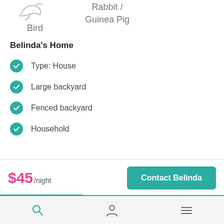Bird
Rabbit / Guinea Pig
Belinda's Home
Type: House
Large backyard
Fenced backyard
Household
$45/night
Contact Belinda